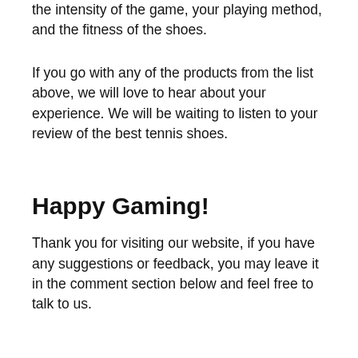the intensity of the game, your playing method, and the fitness of the shoes.
If you go with any of the products from the list above, we will love to hear about your experience. We will be waiting to listen to your review of the best tennis shoes.
Happy Gaming!
Thank you for visiting our website, if you have any suggestions or feedback, you may leave it in the comment section below and feel free to talk to us.
Related Posts: